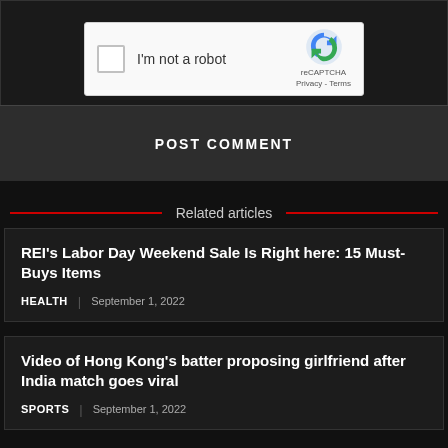[Figure (screenshot): reCAPTCHA widget with checkbox labeled 'I'm not a robot' and reCAPTCHA logo on the right with Privacy and Terms links]
POST COMMENT
Related articles
REI's Labor Day Weekend Sale Is Right here: 15 Must-Buys Items
HEALTH | September 1, 2022
Video of Hong Kong's batter proposing girlfriend after India match goes viral
SPORTS | September 1, 2022